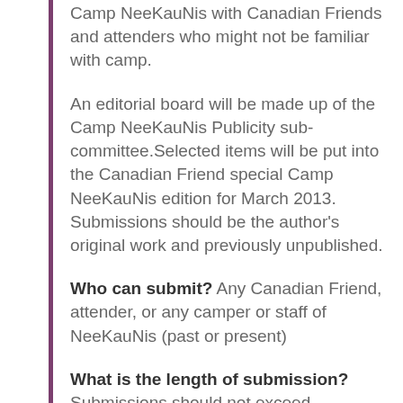Camp NeeKauNis with Canadian Friends and attenders who might not be familiar with camp.
An editorial board will be made up of the Camp NeeKauNis Publicity sub-committee.Selected items will be put into the Canadian Friend special Camp NeeKauNis edition for March 2013. Submissions should be the author's original work and previously unpublished.
Who can submit? Any Canadian Friend, attender, or any camper or staff of NeeKauNis (past or present)
What is the length of submission? Submissions should not exceed 1000...